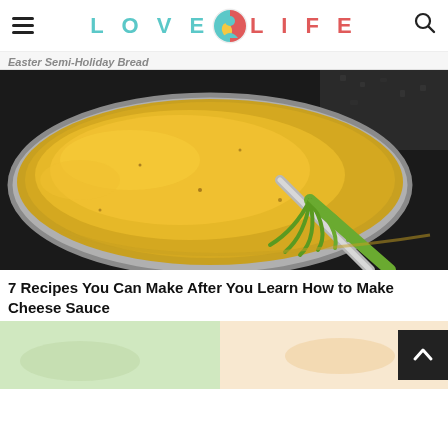LOVE LIFE (logo with icon)
Easter Semi-Holiday Bread
[Figure (photo): A silver saucepan containing yellow cheese sauce being stirred with a green-handled whisk, on a dark stovetop surface.]
7 Recipes You Can Make After You Learn How to Make Cheese Sauce
[Figure (photo): Partial view of another food article image at the bottom of the page, showing a light green background with food elements.]